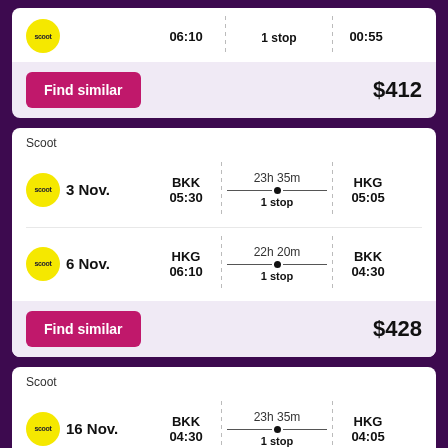06:10 | 1 stop | 00:55
Find similar  $412
Scoot
3 Nov. BKK 05:30 | 23h 35m 1 stop | HKG 05:05
6 Nov. HKG 06:10 | 22h 20m 1 stop | BKK 04:30
Find similar  $428
Scoot
16 Nov. BKK 04:30 | 23h 35m 1 stop | HKG 04:05